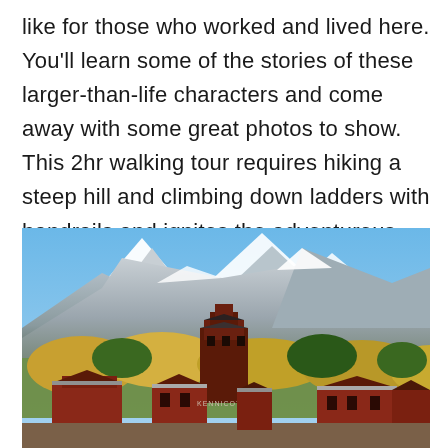like for those who worked and lived here. You'll learn some of the stories of these larger-than-life characters and come away with some great photos to show. This 2hr walking tour requires hiking a steep hill and climbing down ladders with handrails and ignites the adventurous spirit in all ages!
[Figure (photo): Historic red mining mill buildings and structures nestled among yellow and green autumn trees, with dramatic snow-capped mountain peaks rising in the background under a blue sky.]